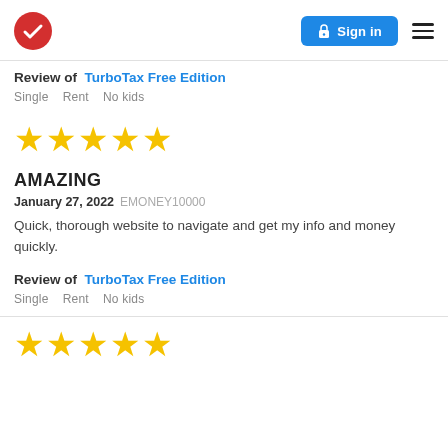TurboTax logo | Sign in | Menu
Review of  TurboTax Free Edition
Single   Rent   No kids
[Figure (other): 5 gold stars rating]
AMAZING
January 27, 2022 EMONEY10000
Quick, thorough website to navigate and get my info and money quickly.
Review of  TurboTax Free Edition
Single   Rent   No kids
[Figure (other): 5 gold stars rating (partial visible)]